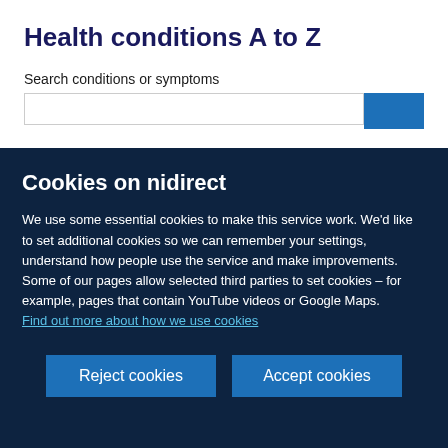Health conditions A to Z
Search conditions or symptoms
Cookies on nidirect
We use some essential cookies to make this service work. We'd like to set additional cookies so we can remember your settings, understand how people use the service and make improvements. Some of our pages allow selected third parties to set cookies – for example, pages that contain YouTube videos or Google Maps.
Find out more about how we use cookies
Reject cookies
Accept cookies